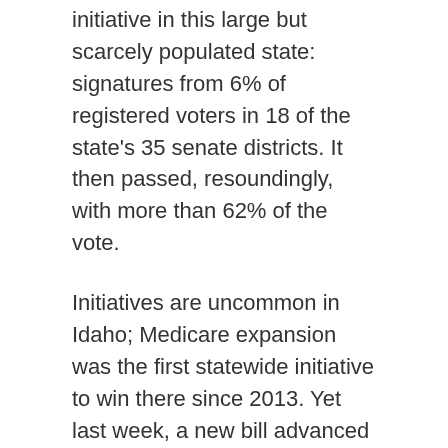initiative in this large but scarcely populated state: signatures from 6% of registered voters in 18 of the state's 35 senate districts. It then passed, resoundingly, with more than 62% of the vote.
Initiatives are uncommon in Idaho; Medicare expansion was the first statewide initiative to win there since 2013. Yet last week, a new bill advanced in the state senate that would require any initiative first receive signatures from 6% of registered voters in all 35 of Idaho's districts. There isn't another state that currently requires a minimum number of signatures in every district. Under this proposal, Idaho would have the most restrictive initiative laws in America.
Lawmakers in Florida – who have made sport out of